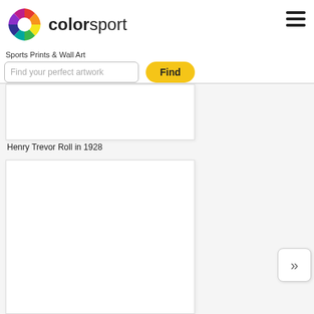colorsport - Sports Prints & Wall Art
Find your perfect artwork
Henry Trevor Roll in 1928
[Figure (photo): White/blank image placeholder for Henry Trevor Roll in 1928]
[Figure (photo): White/blank image placeholder for Septimus Kinneir - Warwickshire C.C.C]
Septimus Kinneir - Warwickshire C.C.C